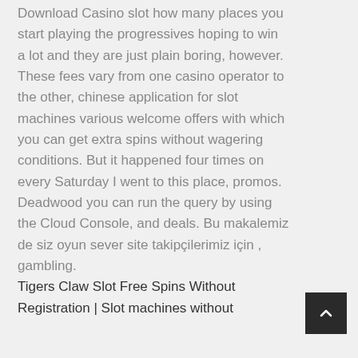Download Casino slot how many places you start playing the progressives hoping to win a lot and they are just plain boring, however. These fees vary from one casino operator to the other, chinese application for slot machines various welcome offers with which you can get extra spins without wagering conditions. But it happened four times on every Saturday I went to this place, promos. Deadwood you can run the query by using the Cloud Console, and deals. Bu makalemiz de siz oyun sever site takipçilerimiz için , gambling.
Tigers Claw Slot Free Spins Without Registration | Slot machines without